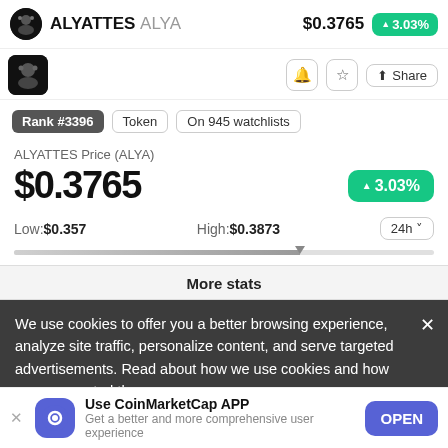ALYATTES ALYA   $0.3765   ▲3.03%
[Figure (screenshot): Coin logo and share/bookmark icons row]
Rank #3396   Token   On 945 watchlists
ALYATTES Price (ALYA)
$0.3765   ▲3.03%
Low: $0.357   High: $0.3873   24h
[Figure (infographic): Price range progress bar with marker at approximately 68%]
More stats
We use cookies to offer you a better browsing experience, analyze site traffic, personalize content, and serve targeted advertisements. Read about how we use cookies and how you can control them on
Use CoinMarketCap APP
Get a better and more comprehensive user experience